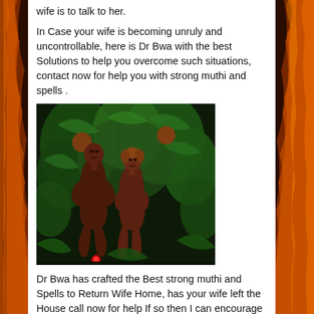wife is to talk to her.
In Case your wife is becoming unruly and uncontrollable, here is Dr Bwa with the best Solutions to help you overcome such situations, contact now for help you with strong muthi and spells .
[Figure (photo): Two wooden carved African statues of a male and female figure standing side by side, surrounded by tropical green foliage. The statues are dark brown wood carvings with detailed facial features.]
Dr Bwa has crafted the Best strong muthi and Spells to Return Wife Home, has your wife left the House call now for help If so then I can encourage